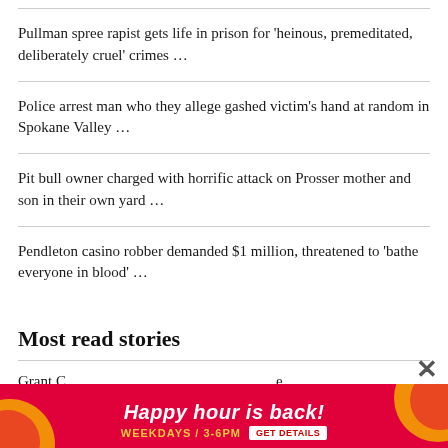Pullman spree rapist gets life in prison for 'heinous, premeditated, deliberately cruel' crimes …
Police arrest man who they allege gashed victim's hand at random in Spokane Valley …
Pit bull owner charged with horrific attack on Prosser mother and son in their own yard …
Pendleton casino robber demanded $1 million, threatened to 'bathe everyone in blood' …
Most read stories
Grant C… e
[Figure (other): Advertisement banner: red background with yellow and white decorative circular elements. Text reads 'Happy hour is back!' in bold white, 'WEEKDAYS / 3-6PM' in yellow, and a white 'GET DETAILS' button. A close (×) button appears in top right.]